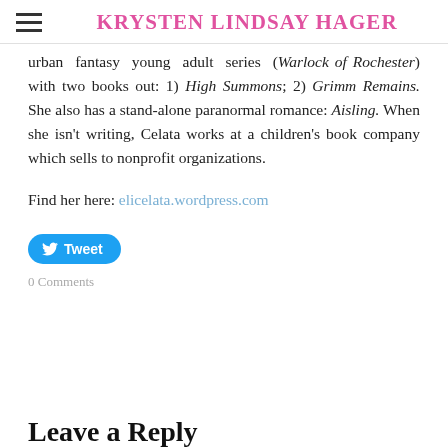KRYSTEN LINDSAY HAGER
urban fantasy young adult series (Warlock of Rochester) with two books out: 1) High Summons; 2) Grimm Remains. She also has a stand-alone paranormal romance: Aisling. When she isn't writing, Celata works at a children's book company which sells to nonprofit organizations.
Find her here: elicelata.wordpress.com
[Figure (other): Tweet button (Twitter/X social share button)]
0 Comments
Leave a Reply